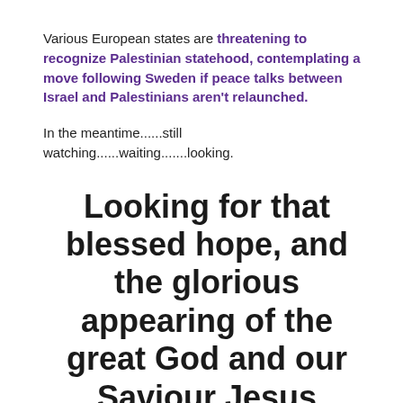Various European states are threatening to recognize Palestinian statehood, contemplating a move following Sweden if peace talks between Israel and Palestinians aren't relaunched.
In the meantime......still watching......waiting.......looking.
Looking for that blessed hope, and the glorious appearing of the great God and our Saviour Jesus Christ; Titus 2:13